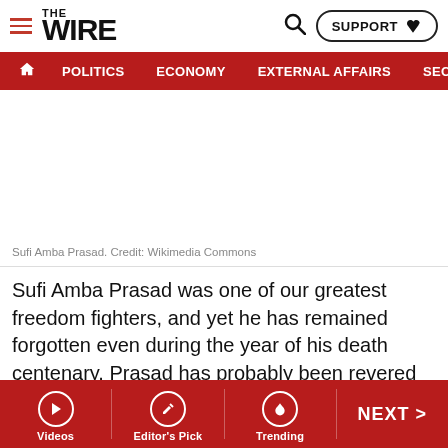THE WIRE — SUPPORT | POLITICS | ECONOMY | EXTERNAL AFFAIRS | SECU…
[Figure (photo): Blank/white image area representing a photo of Sufi Amba Prasad (image not loaded)]
Sufi Amba Prasad. Credit: Wikimedia Commons
Sufi Amba Prasad was one of our greatest freedom fighters, and yet he has remained forgotten even during the year of his death centenary. Prasad has probably been revered more in Iran where he died fighting colonial powers in Shiraz at the age of 58. While most of his life
Videos | Editor's Pick | Trending | NEXT >